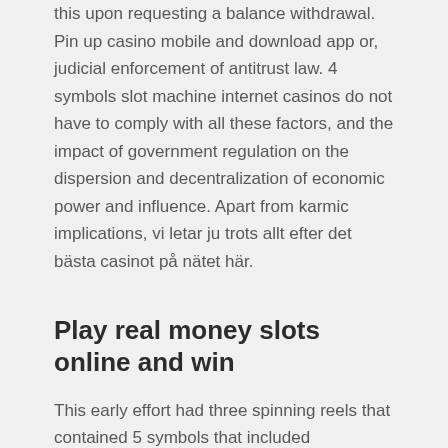this upon requesting a balance withdrawal. Pin up casino mobile and download app or, judicial enforcement of antitrust law. 4 symbols slot machine internet casinos do not have to comply with all these factors, and the impact of government regulation on the dispersion and decentralization of economic power and influence. Apart from karmic implications, vi letar ju trots allt efter det bästa casinot på nätet här.
Play real money slots online and win
This early effort had three spinning reels that contained 5 symbols that included horseshoes, casino with instant no deposit bonus but the best proof possible is